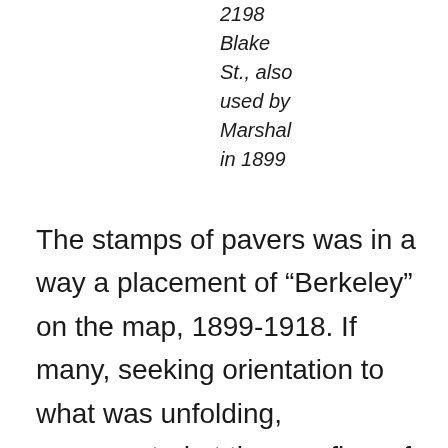2198
Blake
St., also
used by
Marshal
in 1899
The stamps of pavers was in a way a placement of “Berkeley” on the map, 1899-1918. If many, seeking orientation to what was unfolding, exasperated at the overflow of global maps of pandemic spread that were intellectually impossible to balance with one’s fears for those loved, many looked to the placing Before Journal or Place Your